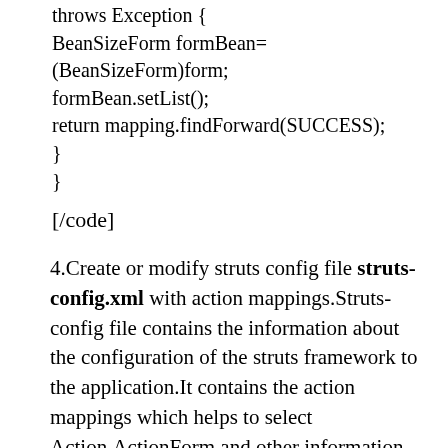throws Exception {
BeanSizeForm formBean=(BeanSizeForm)form;
formBean.setList();
return mapping.findForward(SUCCESS);
}
}
[/code]
4.Create or modify struts config file struts-config.xml with action mappings.Struts-config file contains the information about the configuration of the struts framework to the application.It contains the action mappings which helps to select Action,ActionForm and other information for specific user's request's.